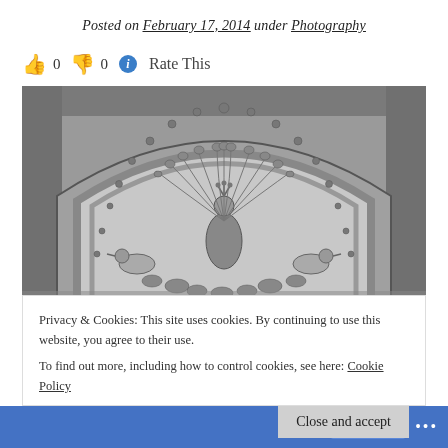Posted on February 17, 2014 under Photography
👍 0 👎 0 ℹ Rate This
[Figure (photo): Black and white photograph of an ornate stone arch tympanum featuring a peacock with spread tail feathers at center, flanked by decorative birds and floral carvings, framed by a rounded arch with intricate stonework.]
Privacy & Cookies: This site uses cookies. By continuing to use this website, you agree to their use. To find out more, including how to control cookies, see here: Cookie Policy
Close and accept
Follow